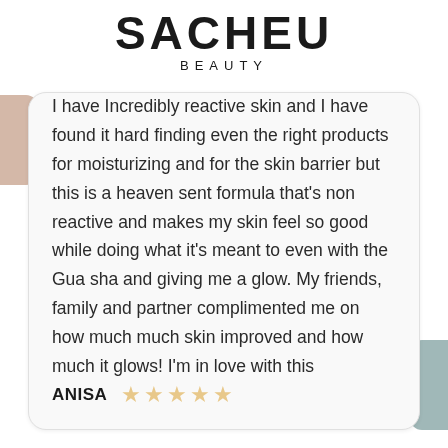SACHEU BEAUTY
I have Incredibly reactive skin and I have found it hard finding even the right products for moisturizing and for the skin barrier but this is a heaven sent formula that's non reactive and makes my skin feel so good while doing what it's meant to even with the Gua sha and giving me a glow. My friends, family and partner complimented me on how much much skin improved and how much it glows! I'm in love with this
ANISA ★★★★★